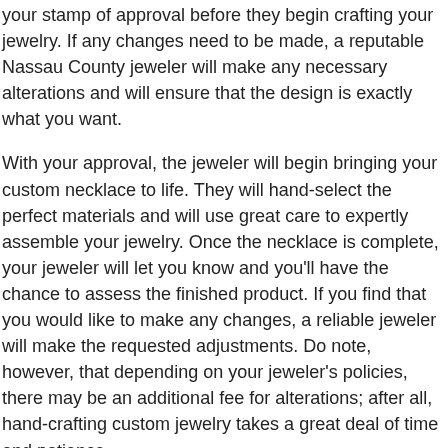your stamp of approval before they begin crafting your jewelry. If any changes need to be made, a reputable Nassau County jeweler will make any necessary alterations and will ensure that the design is exactly what you want.
With your approval, the jeweler will begin bringing your custom necklace to life. They will hand-select the perfect materials and will use great care to expertly assemble your jewelry. Once the necklace is complete, your jeweler will let you know and you'll have the chance to assess the finished product. If you find that you would like to make any changes, a reliable jeweler will make the requested adjustments. Do note, however, that depending on your jeweler's policies, there may be an additional fee for alterations; after all, hand-crafting custom jewelry takes a great deal of time and patience.
The end result will be a beautifully unique piece of jewelry that you or the person you are having the custom necklace made for will adore for years to come.